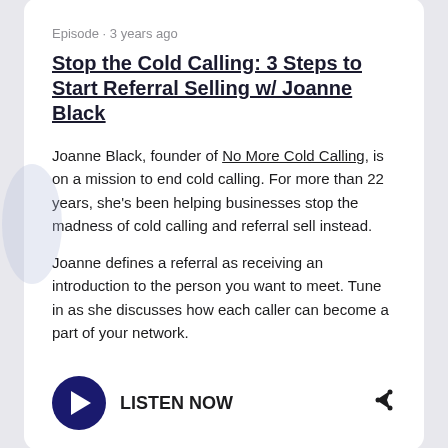Episode · 3 years ago
Stop the Cold Calling: 3 Steps to Start Referral Selling w/ Joanne Black
Joanne Black, founder of No More Cold Calling, is on a mission to end cold calling. For more than 22 years, she's been helping businesses stop the madness of cold calling and referral sell instead.
Joanne defines a referral as receiving an introduction to the person you want to meet. Tune in as she discusses how each caller can become a part of your network.
[Figure (illustration): Play button circle with LISTEN NOW text and share icon]